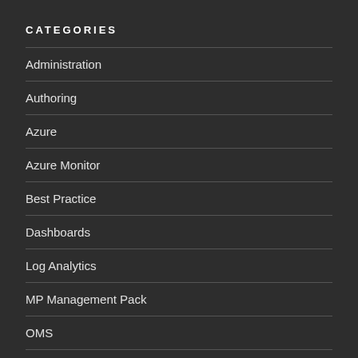CATEGORIES
Administration
Authoring
Azure
Azure Monitor
Best Practice
Dashboards
Log Analytics
MP Management Pack
OMS
PowerShell